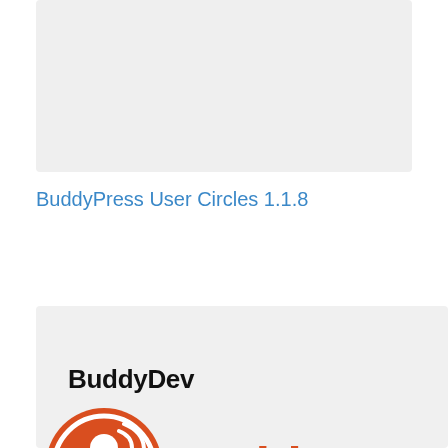[Figure (screenshot): Gray card area at top of page, empty/blank content area]
BuddyPress User Circles 1.1.8
[Figure (logo): BuddyDev logo text in bold black and BuddyPress logo with orange circle icon showing two users, 'Buddy' in orange and 'Press' in black text]